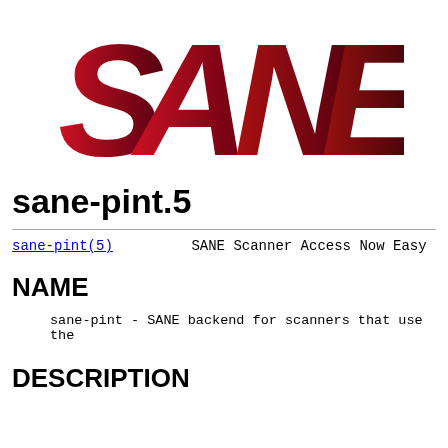[Figure (logo): SANE logo — large bold red/dark-red italic letters spelling SANE with gradient shading from bright red to dark maroon]
sane-pint.5
sane-pint(5)    SANE Scanner Access Now Easy
NAME
sane-pint - SANE backend for scanners that use the
DESCRIPTION